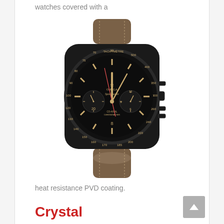watches covered with a
[Figure (photo): Omega Speedmaster watch with black case and dial with tachymetre bezel and brown leather strap, viewed from the front]
heat resistance PVD coating.
Crystal